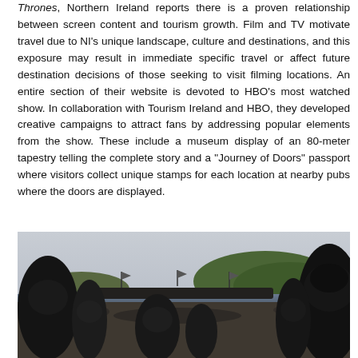Thrones, Northern Ireland reports there is a proven relationship between screen content and tourism growth. Film and TV motivate travel due to NI's unique landscape, culture and destinations, and this exposure may result in immediate specific travel or affect future destination decisions of those seeking to visit filming locations. An entire section of their website is devoted to HBO's most watched show. In collaboration with Tourism Ireland and HBO, they developed creative campaigns to attract fans by addressing popular elements from the show. These include a museum display of an 80-meter tapestry telling the complete story and a "Journey of Doors" passport where visitors collect unique stamps for each location at nearby pubs where the doors are displayed.
[Figure (photo): Photograph of people on a rocky coastal location with a green hill and crowd of figures in the background, appearing to be a Game of Thrones filming location in Northern Ireland.]